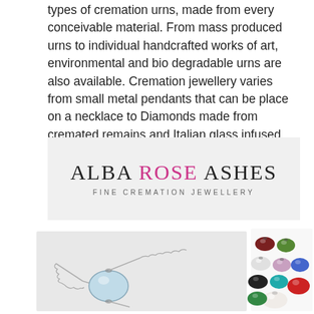types of cremation urns, made from every conceivable material. From mass produced urns to individual handcrafted works of art, environmental and bio degradable urns are also available. Cremation jewellery varies from small metal pendants that can be place on a necklace to Diamonds made from cremated remains and Italian glass infused with remains all made into beautiful jewellery.
[Figure (logo): Alba Rose Ashes logo with tagline 'Fine Cremation Jewellery'. 'ALBA' and 'ASHES' in dark serif text, 'ROSE' in magenta/pink serif text.]
[Figure (photo): Two photos side by side: left shows a silver chain necklace with a light blue glass bead charm; right shows multiple colorful glass/crystal beads in various colors including red, green, blue, teal, white, black, and beige arranged on a white background.]